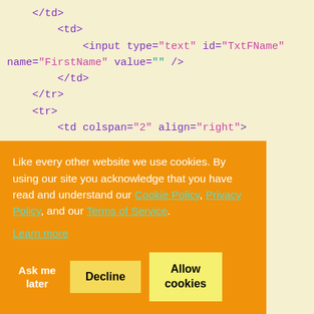</td>
    <td>
        <input type="text" id="TxtFName" name="FirstName" value="" />
        </td>
    </tr>
    <tr>
        <td colspan="2" align="right">

@Html.ValidationMessage("FirstName")
        </td>
    </tr>
    <tr>
[Figure (screenshot): Cookie consent banner overlay with orange background, showing cookie policy text with links to Cookie Policy, Privacy Policy, and Terms of Service, plus Ask me later, Decline, and Allow cookies buttons]